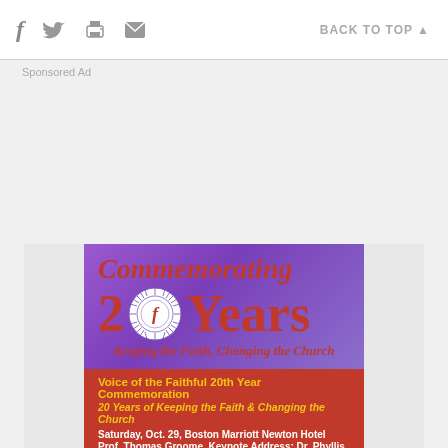f  [twitter]  [print]  [email]    BACK TO TOP ▲
Sponsored Ad
[Figure (illustration): Event flyer for Voice of the Faithful 20th Year Commemoration. Purple gradient background with red large text reading 'Commemorating 20 Years' with a circular seal logo in place of the zero. Italic red text: 'Keeping the Faith, Changing the Church'. Red banner below with yellow bold text: 'Voice of the Faithful 20th Year Commemoration' and '20 Years of Keeping the Faith & Changing the Church'. White text details: 'Saturday, Oct. 29, Boston Marriott Newton Hotel', 'Prof. Thomas Groome, Keynote Address; Dr. Phyllis Zagano, Grace before Lunch; Rev. William Clark, Liturgy of the Mass']